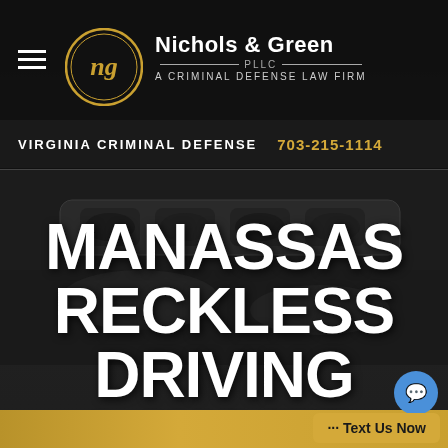[Figure (logo): Nichols & Green PLLC circular gold and black law firm logo with stylized NG monogram]
Nichols & Green PLLC — A Criminal Defense Law Firm
VIRGINIA CRIMINAL DEFENSE   703-215-1114
[Figure (photo): Dark background photo of police car light bar]
MANASSAS RECKLESS DRIVING LAWYER
... Text Us Now